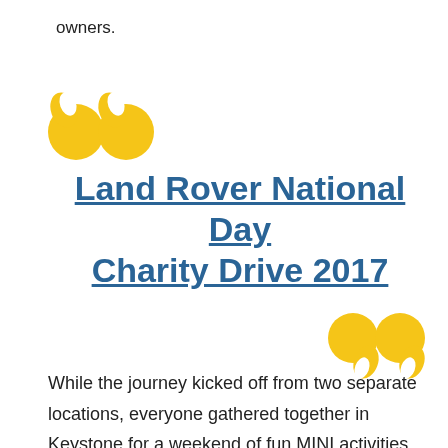owners.
[Figure (illustration): Large decorative yellow opening quotation mark graphic on left side]
Land Rover National Day Charity Drive 2017
[Figure (illustration): Large decorative yellow closing quotation mark graphic on right side]
While the journey kicked off from two separate locations, everyone gathered together in Keystone for a weekend of fun MINI activities and adventures while raising money for a great cause. Having two separate routes gave more